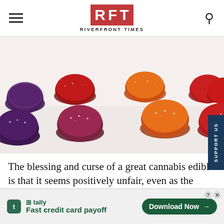RFT RIVERFRONT TIMES
[Figure (photo): Overhead view of colorful sugar-coated cannabis gumdrops in dark purple, crimson red, and orange-red arranged in rows on a white surface.]
The blessing and curse of a great cannabis edible is that it seems positively unfair, even as the warm buzz envelops you, that you can't just eat a few more. Such is the delicious predicament offered by a Honeybee Edibles' line of gumdrops, whose fruit flavors are temptingly rich and
[Figure (other): Advertisement banner for Tally app: 'Fast credit card payoff' with a Download Now button.]